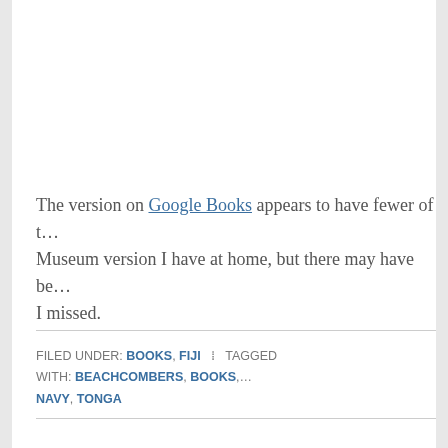The version on Google Books appears to have fewer of t… Museum version I have at home, but there may have be… I missed.
FILED UNDER: BOOKS, FIJI  ·  TAGGED WITH: BEACHCOMBERS, BOOKS, … NAVY, TONGA